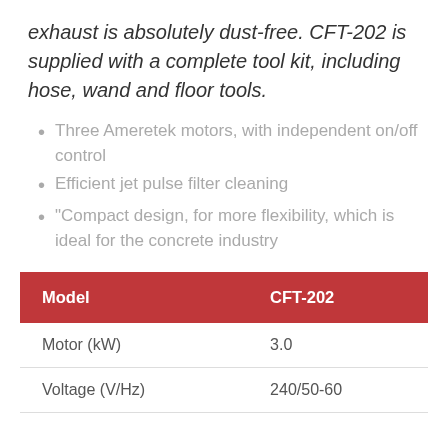exhaust is absolutely dust-free. CFT-202 is supplied with a complete tool kit, including hose, wand and floor tools.
Three Ameretek motors, with independent on/off control
Efficient jet pulse filter cleaning
“Compact design, for more flexibility, which is ideal for the concrete industry
| Model | CFT-202 |
| --- | --- |
| Motor (kW) | 3.0 |
| Voltage (V/Hz) | 240/50-60 |